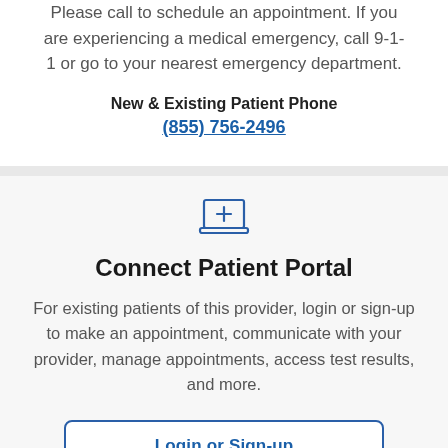Please call to schedule an appointment. If you are experiencing a medical emergency, call 9-1-1 or go to your nearest emergency department.
New & Existing Patient Phone
(855) 756-2496
[Figure (illustration): Laptop icon with a medical cross/plus symbol on the screen]
Connect Patient Portal
For existing patients of this provider, login or sign-up to make an appointment, communicate with your provider, manage appointments, access test results, and more.
Login or Sign-up